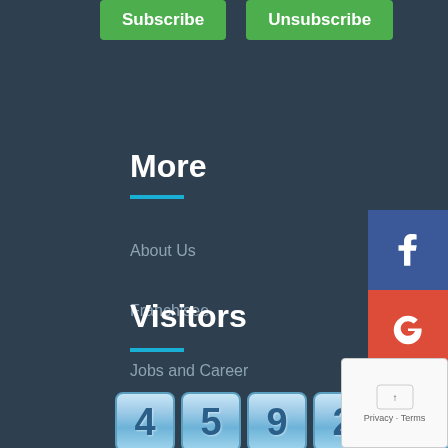[Figure (screenshot): Subscribe and Unsubscribe green buttons at top of page]
More
About Us
Franchisee
Jobs and Career
Contact Us
Sitemap
Visitors
[Figure (other): Visitor counter showing 459237]
[Figure (other): Social media icons panel: Facebook, Google+, Twitter, LinkedIn, Instagram]